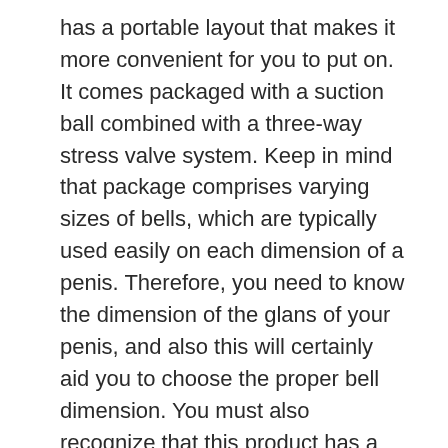has a portable layout that makes it more convenient for you to put on. It comes packaged with a suction ball combined with a three-way stress valve system. Keep in mind that package comprises varying sizes of bells, which are typically used easily on each dimension of a penis. Therefore, you need to know the dimension of the glans of your penis, and also this will certainly aid you to choose the proper bell dimension. You must also recognize that this product has a stress clip, enabling you to use an easy pull to increase pressure. And also it features a protector cap to secure the glans versus excess pressure.
Penis Enlargement Hanging